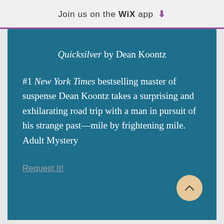Join us on the WiX app ⬇
Quicksilver by Dean Koontz
#1 New York Times bestselling master of suspense Dean Koontz takes a surprising and exhilarating road trip with a man in pursuit of his strange past—mile by frightening mile.      Adult Mystery
Request It!